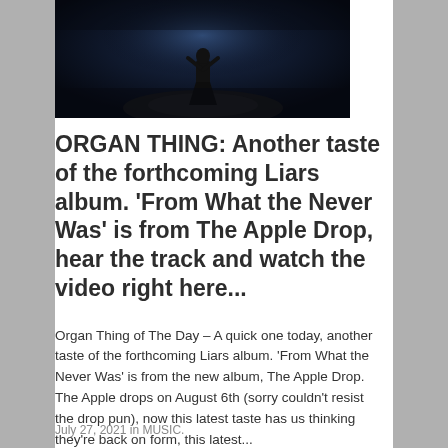[Figure (photo): Dark atmospheric photo of a figure standing on rocks in a misty, dark blue environment, appearing to be reaching upward]
ORGAN THING: Another taste of the forthcoming Liars album. ‘From What the Never Was’ is from The Apple Drop, hear the track and watch the video right here...
Organ Thing of The Day – A quick one today, another taste of the forthcoming Liars album. ‘From What the Never Was’ is from the new album, The Apple Drop. The Apple drops on August 6th (sorry couldn’t resist the drop pun), now this latest taste has us thinking they’re back on form, this latest...
July 27, 2021 in MUSIC.